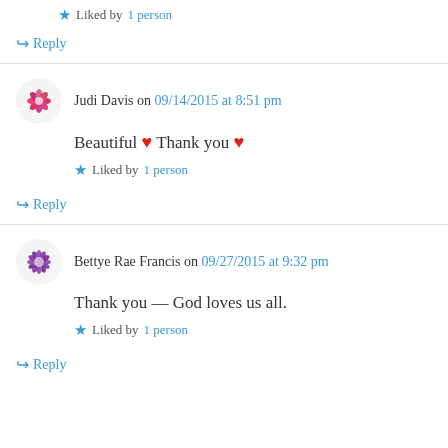Liked by 1 person
Reply
Judi Davis on 09/14/2015 at 8:51 pm
Beautiful ❤ Thank you ❤
Liked by 1 person
Reply
Bettye Rae Francis on 09/27/2015 at 9:32 pm
Thank you — God loves us all.
Liked by 1 person
Reply